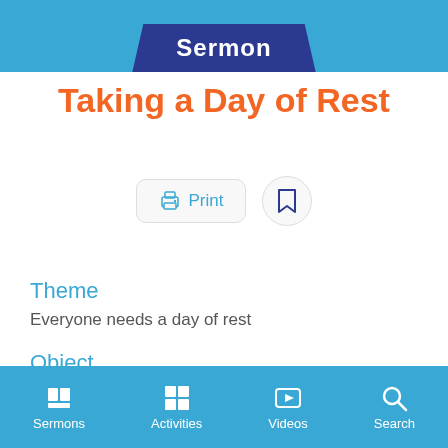[Figure (screenshot): Top blue banner with 'Sermon' badge in dark blue hexagonal/pentagonal shape]
Taking a Day of Rest
[Figure (screenshot): Print button with printer icon and bookmark icon]
Theme
Everyone needs a day of rest
Object
None needed
Sermons  Activities  Videos  Search